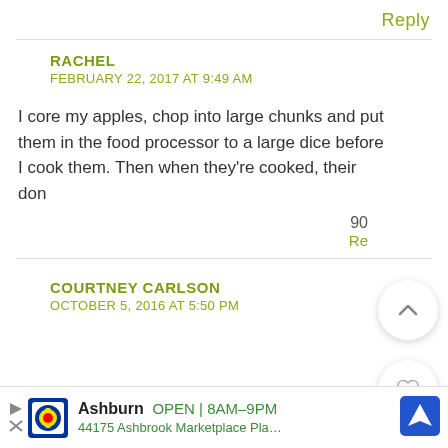Reply
RACHEL
FEBRUARY 22, 2017 AT 9:49 AM
I core my apples, chop into large chunks and put them in the food processor to a large dice before I cook them. Then when they're cooked, their don
90
Re
COURTNEY CARLSON
OCTOBER 5, 2016 AT 5:50 PM
Ashburn OPEN 8AM–9PM 44175 Ashbrook Marketplace Pla…